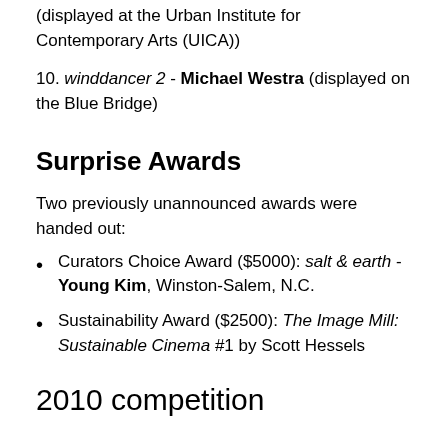(displayed at the Urban Institute for Contemporary Arts (UICA))
10. winddancer 2 - Michael Westra (displayed on the Blue Bridge)
Surprise Awards
Two previously unannounced awards were handed out:
Curators Choice Award ($5000): salt & earth - Young Kim, Winston-Salem, N.C.
Sustainability Award ($2500): The Image Mill: Sustainable Cinema #1 by Scott Hessels
2010 competition